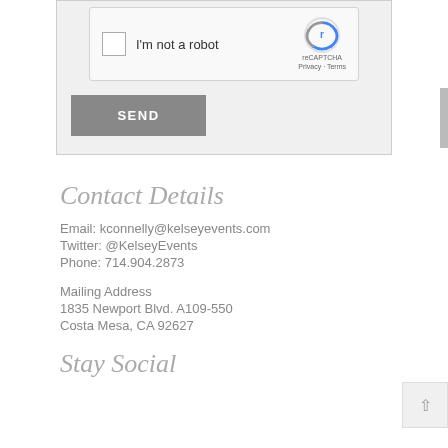[Figure (screenshot): reCAPTCHA widget with checkbox 'I'm not a robot' and reCAPTCHA logo with Privacy/Terms links]
[Figure (other): SEND button, gray rectangle with white text]
Contact Details
Email: kconnelly@kelseyevents.com
Twitter: @KelseyEvents
Phone: 714.904.2873
Mailing Address
1835 Newport Blvd. A109-550
Costa Mesa, CA 92627
Stay Social